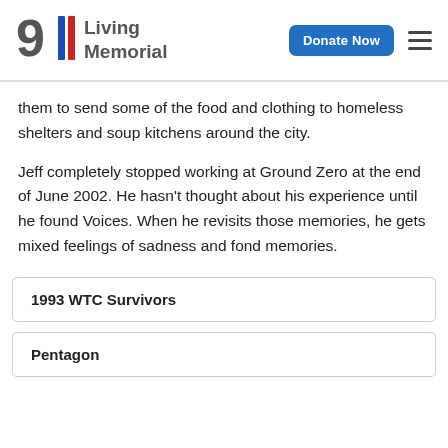911 Living Memorial | Donate Now
them to send some of the food and clothing to homeless shelters and soup kitchens around the city.
Jeff completely stopped working at Ground Zero at the end of June 2002. He hasn't thought about his experience until he found Voices. When he revisits those memories, he gets mixed feelings of sadness and fond memories.
1993 WTC Survivors
Pentagon